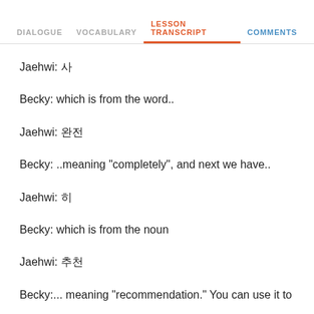DIALOGUE   VOCABULARY   LESSON TRANSCRIPT   COMMENTS
Jaehwi: 사
Becky: which is from the word..
Jaehwi: 완전
Becky: ..meaning "completely", and next we have..
Jaehwi: 히
Becky: which is from the noun
Jaehwi: 추천
Becky:... meaning "recommendation." You can use it to